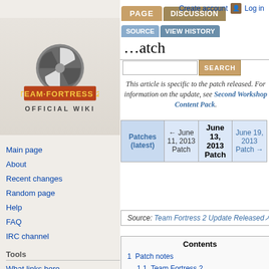[Figure (logo): Team Fortress 2 Official Wiki logo with TF2 emblem and text]
Create account  Log in
PAGE  DISCUSSION  SOURCE  VIEW HISTORY  SEARCH
June 13, 2013 Patch
This article is specific to the patch released. For information on the update, see Second Workshop Content Pack.
| Patches (latest) | ← June 11, 2013 Patch | June 13, 2013 Patch | June 19, 2013 Patch → |
| --- | --- | --- | --- |
|  |
Source: Team Fortress 2 Update Released
Contents
1  Patch notes
1.1  Team Fortress 2